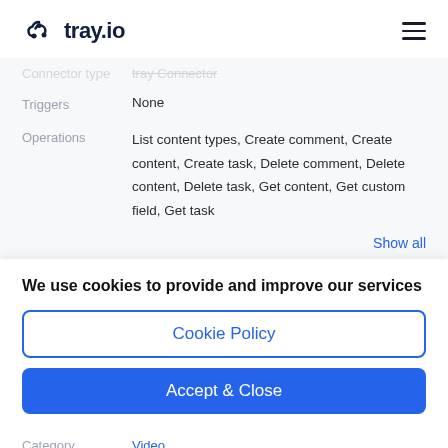tray.io
Connector type  tray Connector
| Field | Value |
| --- | --- |
| Triggers | None |
| Operations | List content types, Create comment, Create content, Create task, Delete comment, Delete content, Delete task, Get content, Get custom field, Get task |
Show all
We use cookies to provide and improve our services
Cookie Policy
Accept & Close
Category  Video